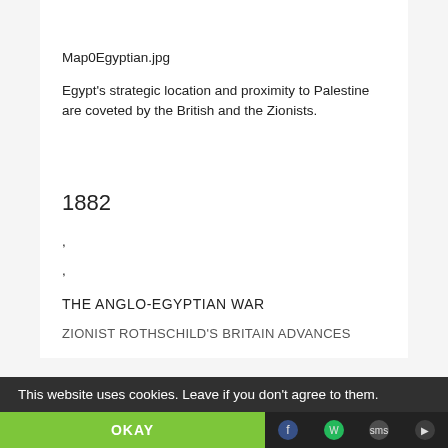Map0Egyptian.jpg
Egypt's strategic location and proximity to Palestine are coveted by the British and the Zionists.
1882
,
,
THE ANGLO-EGYPTIAN WAR
ZIONIST ROTHSCHILD'S BRITAIN ADVANCES
This website uses cookies. Leave if you don't agree to them.
OKAY